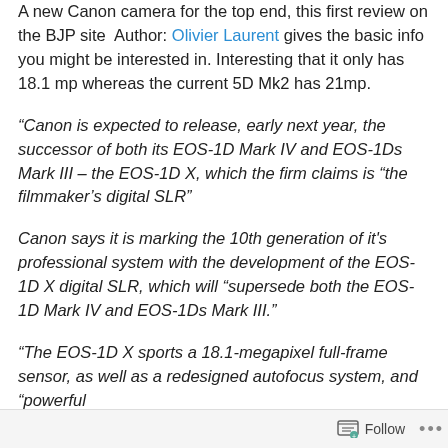A new Canon camera for the top end, this first review on the BJP site  Author: Olivier Laurent gives the basic info you might be interested in. Interesting that it only has 18.1 mp whereas the current 5D Mk2 has 21mp.
“Canon is expected to release, early next year, the successor of both its EOS-1D Mark IV and EOS-1Ds Mark III – the EOS-1D X, which the firm claims is “the filmmaker’s digital SLR”
Canon says it is marking the 10th generation of it's professional system with the development of the EOS-1D X digital SLR, which will “supersede both the EOS-1D Mark IV and EOS-1Ds Mark III.”
“The EOS-1D X sports a 18.1-megapixel full-frame sensor, as well as a redesigned autofocus system, and “powerful
Follow